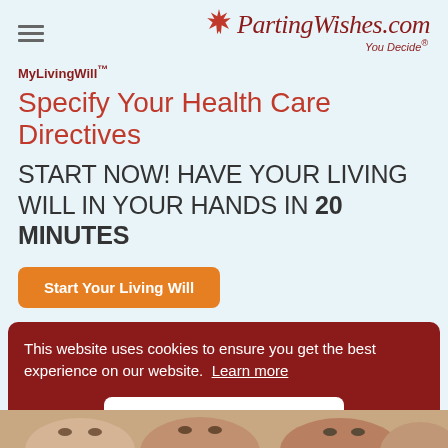PartingWishes.com — You Decide®
MyLivingWill™
Specify Your Health Care Directives
START NOW! HAVE YOUR LIVING WILL IN YOUR HANDS IN 20 MINUTES
Start Your Living Will
This website uses cookies to ensure you get the best experience on our website. Learn more
Got it!
[Figure (photo): Partial view of people's faces at the bottom of the page]